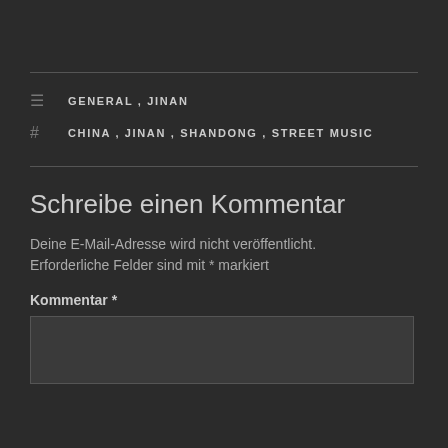GENERAL, JINAN
CHINA, JINAN, SHANDONG, STREET MUSIC
Schreibe einen Kommentar
Deine E-Mail-Adresse wird nicht veröffentlicht. Erforderliche Felder sind mit * markiert
Kommentar *